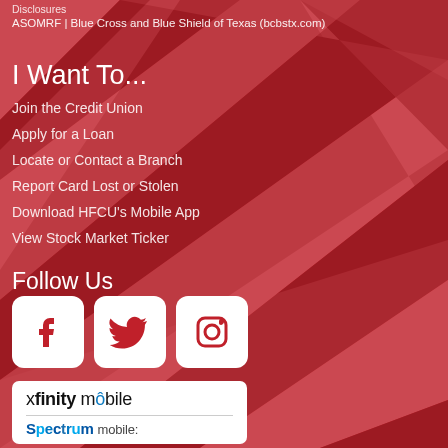Disclosures
ASOMRF | Blue Cross and Blue Shield of Texas (bcbstx.com)
I Want To...
Join the Credit Union
Apply for a Loan
Locate or Contact a Branch
Report Card Lost or Stolen
Download HFCU's Mobile App
View Stock Market Ticker
Follow Us
[Figure (illustration): Social media icons for Facebook, Twitter, and Instagram displayed as white rounded-square icons on a red background]
[Figure (logo): White box containing xfinity mobile logo and Spectrum mobile logo]